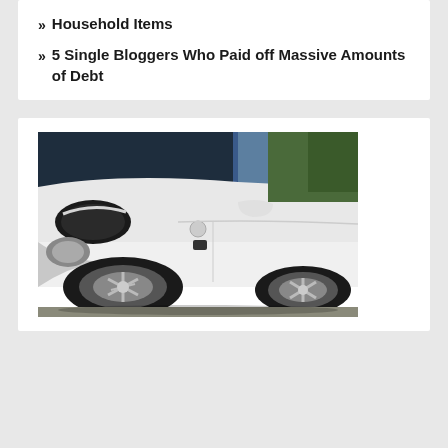» Household Items
» 5 Single Bloggers Who Paid off Massive Amounts of Debt
[Figure (photo): Close-up photograph of the front and side of a white Mercedes-Benz sports car with alloy wheels, parked on a gravel surface with trees in the background.]